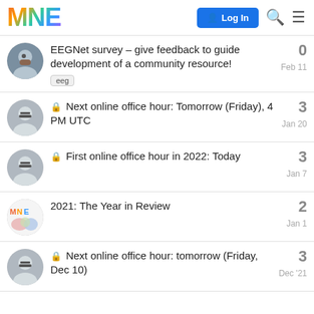MNE — Log In
EEGNet survey – give feedback to guide development of a community resource! | tag: eeg | replies: 0 | Feb 11
🔒 Next online office hour: Tomorrow (Friday), 4 PM UTC | replies: 3 | Jan 20
🔒 First online office hour in 2022: Today | replies: 3 | Jan 7
2021: The Year in Review | replies: 2 | Jan 1
🔒 Next online office hour: tomorrow (Friday, Dec 10) | replies: 3 | Dec '21